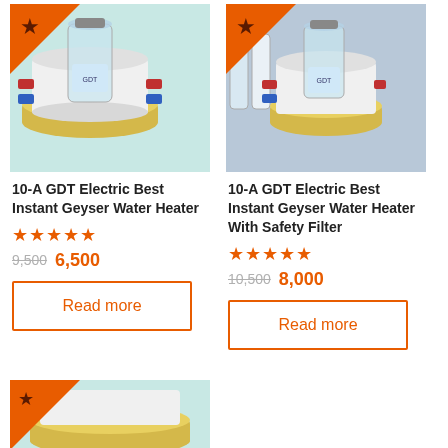[Figure (photo): 10-A GDT Electric Best Instant Geyser Water Heater product image with orange star badge on teal background]
10-A GDT Electric Best Instant Geyser Water Heater
★★★★★
9,500  6,500
Read more
[Figure (photo): 10-A GDT Electric Best Instant Geyser Water Heater With Safety Filter product image with orange star badge on blue-grey background]
10-A GDT Electric Best Instant Geyser Water Heater With Safety Filter
★★★★★
10,500  8,000
Read more
[Figure (photo): Third product partially visible at bottom with orange star badge on teal background]